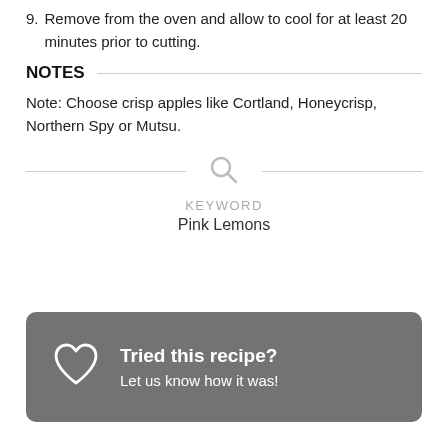9. Remove from the oven and allow to cool for at least 20 minutes prior to cutting.
NOTES
Note: Choose crisp apples like Cortland, Honeycrisp, Northern Spy or Mutsu.
KEYWORD
Pink Lemons
Tried this recipe? Let us know how it was!